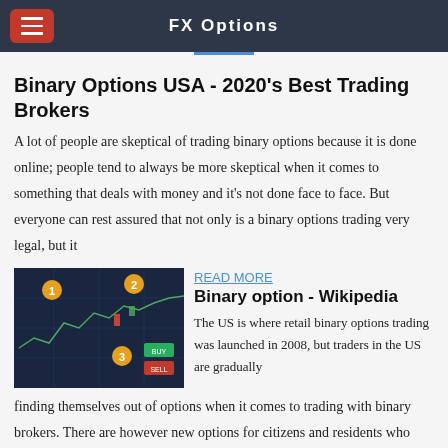FX Options
Binary Options USA - 2020's Best Trading Brokers
A lot of people are skeptical of trading binary options because it is done online; people tend to always be more skeptical when it comes to something that deals with money and it's not done face to face. But everyone can rest assured that not only is a binary options trading very legal, but it
[Figure (screenshot): Trading platform screenshot showing binary options chart with numbered markers 1, 2, 3 in orange circles]
READ MORE
Binary option - Wikipedia
The US is where retail binary options trading was launched in 2008, but traders in the US are gradually finding themselves out of options when it comes to trading with binary brokers. There are however new options for citizens and residents who want to do business with the top brokers.